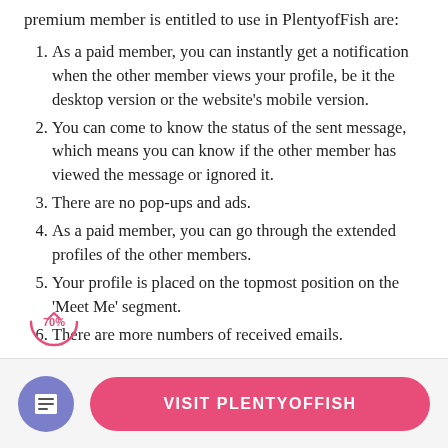premium member is entitled to use in PlentyofFish are:
As a paid member, you can instantly get a notification when the other member views your profile, be it the desktop version or the website's mobile version.
You can come to know the status of the sent message, which means you can know if the other member has viewed the message or ignored it.
There are no pop-ups and ads.
As a paid member, you can go through the extended profiles of the other members.
Your profile is placed on the topmost position on the 'Meet Me' segment.
There are more numbers of received emails.
[Figure (other): Scroll progress indicator circle showing 70% with an upward chevron arrow, rendered in pink/red]
VISIT PLENTYOFFISH